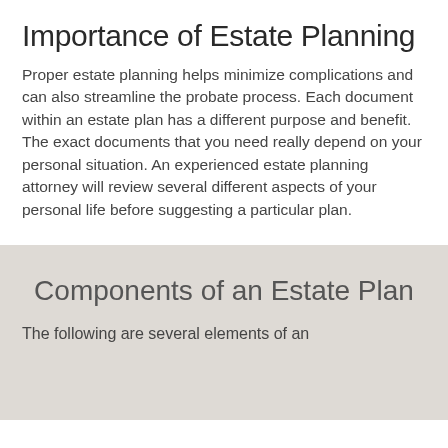Importance of Estate Planning
Proper estate planning helps minimize complications and can also streamline the probate process. Each document within an estate plan has a different purpose and benefit. The exact documents that you need really depend on your personal situation. An experienced estate planning attorney will review several different aspects of your personal life before suggesting a particular plan.
Components of an Estate Plan
The following are several elements of an